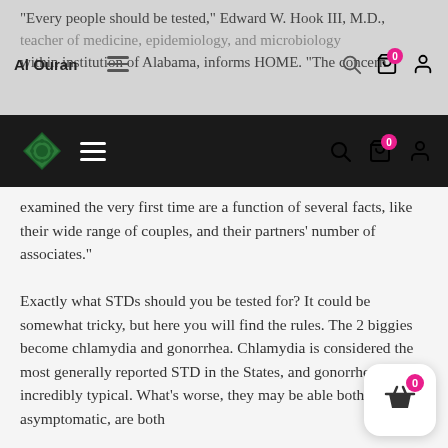“Every people should be tested,” Edward W. Hook III, M.D., teacher of medicine, epidemiology, and microbiology within institution of Alabama, informs HOME. “The concern
Al Ouran [navigation bar with logo, hamburger menu, search, cart, profile icons]
examined the very first time are a function of several facts, like their wide range of couples, and their partners’ number of associates.”
Exactly what STDs should you be tested for? It could be somewhat tricky, but here you will find the rules. The 2 biggies become chlamydia and gonorrhea. Chlamydia is considered the most generally reported STD in the States, and gonorrhea can incredibly typical. What’s worse, they may be able both be asymptomatic, are both